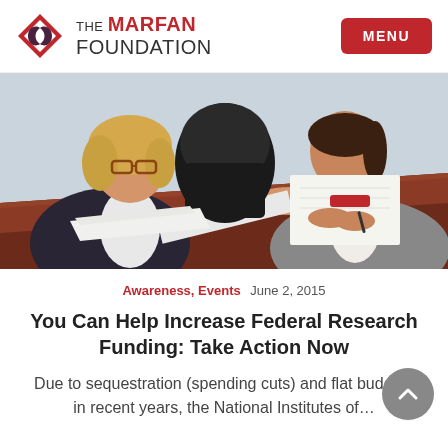THE MARFAN FOUNDATION | MENU
[Figure (photo): Two women sitting at a conference table having a meeting. One woman on the left with blonde hair wearing a floral/dark jacket gestures with her hand over the table. The woman on the right wears a gray blazer and has a notepad in front of her.]
Awareness, Events  June 2, 2015
You Can Help Increase Federal Research Funding: Take Action Now
Due to sequestration (spending cuts) and flat budgets in recent years, the National Institutes of...